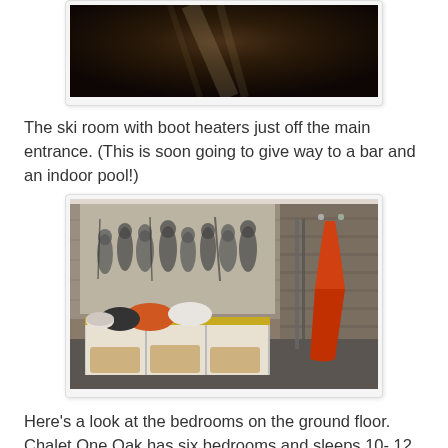[Figure (photo): Dark moody photo, partially cropped at top of page, appears to show a dimly lit interior or night scene with light streaks]
The ski room with boot heaters just off the main entrance. (This is soon going to give way to a bar and an indoor pool!)
[Figure (photo): Interior photo of a ski room with wooden plank walls, a vintage black-and-white group ski photo mural on the wall, a yellow bench with storage cubbies below, bags and ski equipment on the bench, wicker baskets in the cubbies, and an orange ski jacket hanging on hooks on the right]
Here's a look at the bedrooms on the ground floor. Chalet One Oak has six bedrooms and sleeps 10- 12 guests:
[Figure (photo): Partially visible photo at bottom of page, appears to show a bedroom interior]